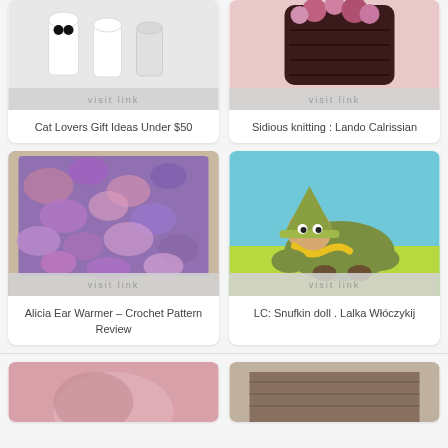[Figure (photo): Cat themed ceramic cups/figurines (black cat, white cat, grey cat) on white background]
visit link
Cat Lovers Gift Ideas Under $50
[Figure (photo): Dark brown knitted object (possibly a bag or hat) with pink/purple pompoms against a pink background]
visit link
Sidious knitting : Lando Calrissian
[Figure (photo): Purple and pink multicolor crochet ear warmer/headband on wooden surface]
visit link
Alicia Ear Warmer – Crochet Pattern Review
[Figure (photo): Snufkin doll amigurumi – green felt character with pointed hat and yellow scarf lying on green surface against blue background]
visit link
LC: Snufkin doll . Lalka Włóczykij
[Figure (photo): Partially visible pink knitted/crocheted item at bottom left]
[Figure (photo): Partially visible dark crocheted/knitted item at bottom right]